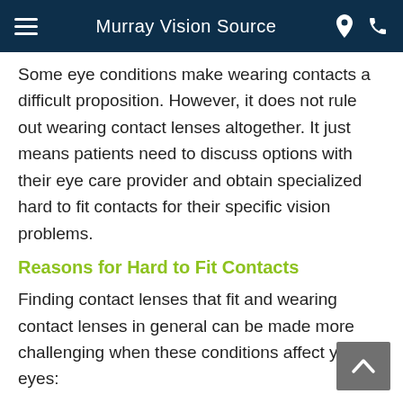Murray Vision Source
Some eye conditions make wearing contacts a difficult proposition. However, it does not rule out wearing contact lenses altogether. It just means patients need to discuss options with their eye care provider and obtain specialized hard to fit contacts for their specific vision problems.
Reasons for Hard to Fit Contacts
Finding contact lenses that fit and wearing contact lenses in general can be made more challenging when these conditions affect your eyes:
Astigmatism
Dry eyes
Giant Papillary Conjunctivitis (GPC)